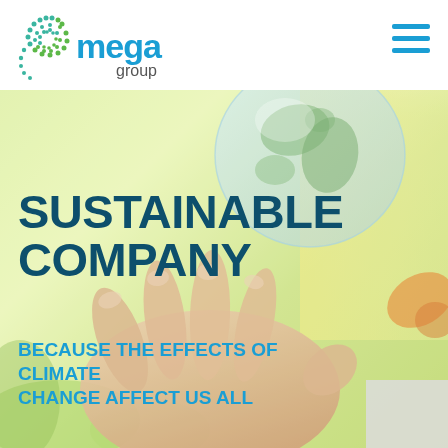[Figure (logo): Mega Group logo with spiral icon in green/teal dots and 'mega group' text in cyan blue]
[Figure (photo): Background photo of hands holding a glass globe/earth with green natural background, yellow-green light tones]
SUSTAINABLE COMPANY
BECAUSE THE EFFECTS OF CLIMATE CHANGE AFFECT US ALL